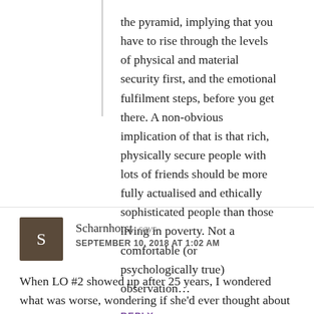the pyramid, implying that you have to rise through the levels of physical and material security first, and the emotional fulfilment steps, before you get there. A non-obvious implication of that is that rich, physically secure people with lots of friends should be more fully actualised and ethically sophisticated people than those living in poverty. Not a comfortable (or psychologically true) observation...
REPLY
Scharnhorst says SEPTEMBER 10, 2018 AT 1:02 AM
When LO #2 showed up after 25 years, I wondered what was worse, wondering if she'd ever thought about me or knowing that she had, at least once.